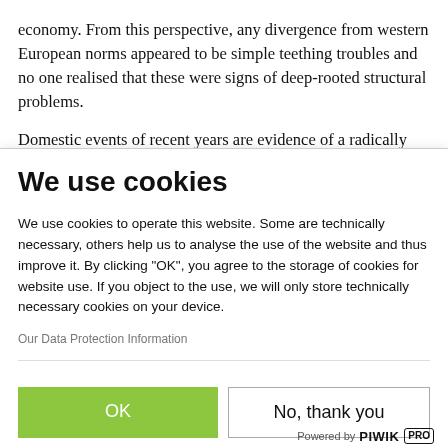economy. From this perspective, any divergence from western European norms appeared to be simple teething troubles and no one realised that these were signs of deep-rooted structural problems.
Domestic events of recent years are evidence of a radically different picture. Doubts about EU
We use cookies
We use cookies to operate this website. Some are technically necessary, others help us to analyse the use of the website and thus improve it. By clicking "OK", you agree to the storage of cookies for website use. If you object to the use, we will only store technically necessary cookies on your device.
Our Data Protection Information
OK
No, thank you
Powered by PIWIK PRO